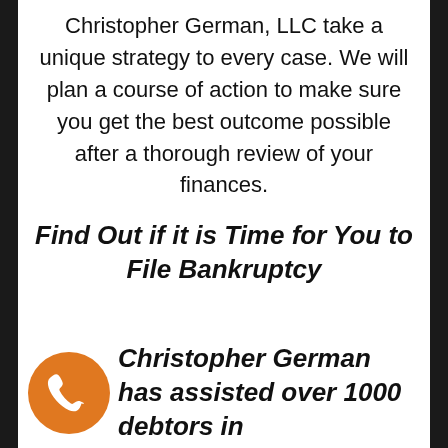Christopher German, LLC take a unique strategy to every case. We will plan a course of action to make sure you get the best outcome possible after a thorough review of your finances.
Find Out if it is Time for You to File Bankruptcy
Christopher German has assisted over 1000 debtors in